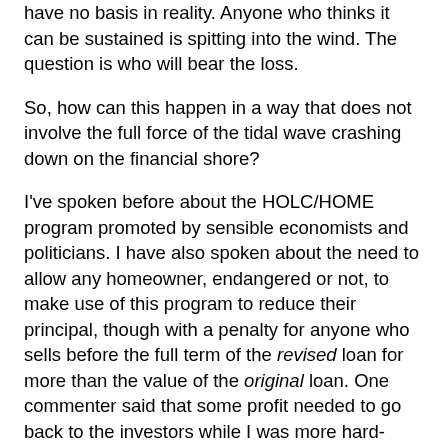have no basis in reality. Anyone who thinks it can be sustained is spitting into the wind. The question is who will bear the loss.
So, how can this happen in a way that does not involve the full force of the tidal wave crashing down on the financial shore?
I've spoken before about the HOLC/HOME program promoted by sensible economists and politicians. I have also spoken about the need to allow any homeowner, endangered or not, to make use of this program to reduce their principal, though with a penalty for anyone who sells before the full term of the revised loan for more than the value of the original loan. One commenter said that some profit needed to go back to the investors while I was more hard-nosed and said they needed to take on the risk for their investments.
But maybe we can adjust the program to sweeten the deal for these securities holders and get them to agree to loan restructuring rather than suing banks. Instead of only dealing